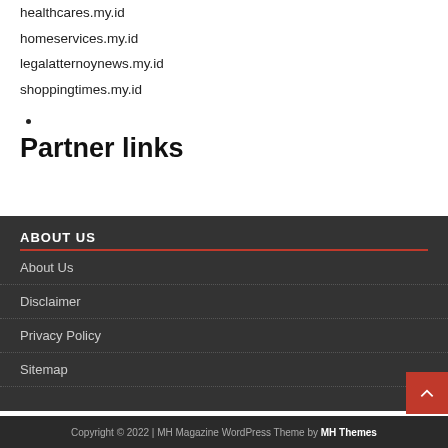healthcares.my.id
homeservices.my.id
legalatternoynews.my.id
shoppingtimes.my.id
Partner links
ABOUT US
About Us
Disclaimer
Privacy Policy
Sitemap
Copyright © 2022 | MH Magazine WordPress Theme by MH Themes